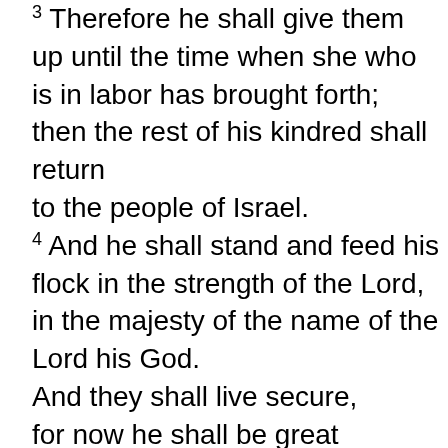3 Therefore he shall give them up until the time when she who is in labor has brought forth; then the rest of his kindred shall return to the people of Israel. 4 And he shall stand and feed his flock in the strength of the Lord, in the majesty of the name of the Lord his God. And they shall live secure, for now he shall be great to the ends of the earth; 5